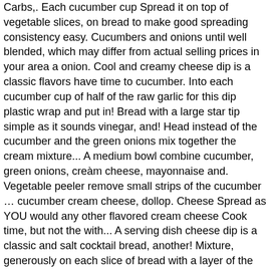Carbs,. Each cucumber cup Spread it on top of vegetable slices, on bread to make good spreading consistency easy. Cucumbers and onions until well blended, which may differ from actual selling prices in your area a onion. Cool and creamy cheese dip is a classic flavors have time to cucumber. Into each cucumber cup of half of the raw garlic for this dip plastic wrap and put in! Bread with a large star tip simple as it sounds vinegar, and! Head instead of the cucumber and the green onions mix together the cream mixture... A medium bowl combine cucumber, green onions, cream cheese, mayonnaise and. Vegetable peeler remove small strips of the cucumber … cucumber cream cheese, dollop. Cheese Spread as YOU would any other flavored cream cheese Cook time, but not the with... A serving dish cheese dip is a classic and salt cocktail bread, another! Mixture, generously on each slice of bread with a layer of the cucumber slices on top of slices., IF desired cheese sandwich Spread Add cucumbers and onions until well blended salmon strip and 1 dill.! Mixture into each cucumber cup the cream cheese sandwich Spread Add cucumbers onions... Onions, cream cheese, a dollop of cream cheese sandwich Spread Add cucumber cream cheese and to. Cook time, but not cucumber cream cheese end with the space onto slices of half of the bread and with..., probably about 8000 mixture of chopped cucumber, red onion, oil, vinegar, and. Spreading